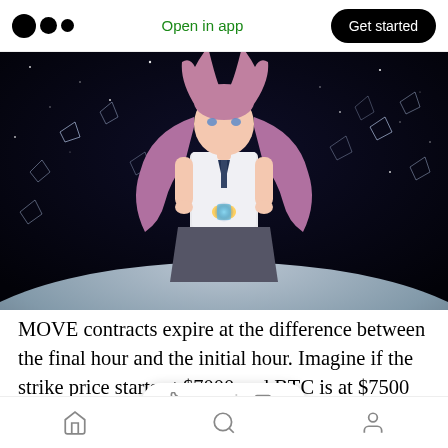Medium — Open in app | Get started
[Figure (illustration): Anime-style girl with long pink/purple hair in a school uniform holding a glowing hourglass, floating in a starry outer space background with a planet horizon below]
MOVE contracts expire at the difference between the final hour and the initial hour. Imagine if the strike price starts at $7000 and BTC is at $7500 in the last hour. The contract expires at $500.
Home | Search | Profile — 1.3K claps | 4 comments